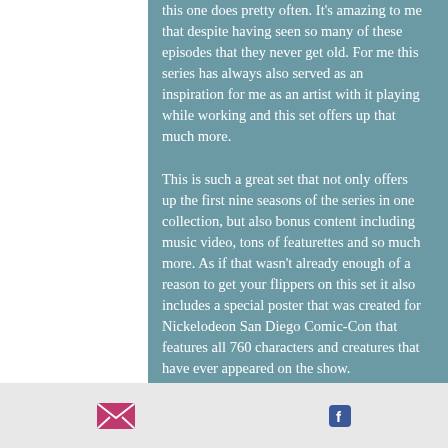this one does pretty often. It's amazing to me that despite having seen so many of these episodes that they never get old. For me this series has always also served as an inspiration for me as an artist with it playing while working and this set offers up that much more.

This is such a great set that not only offers up the first nine seasons of the series in one collection, but also bonus content including music video, tons of featurettes and so much more. As if that wasn't already enough of a reason to get your flippers on this set it also includes a special poster that was created for Nickelodeon San Diego Comic-Con that features all 760 characters and creatures that have ever appeared on the show.

Head to Bikini Bottom and grab your
[Figure (other): Footer bar with email icon (pink envelope) and Facebook icon (blue F)]